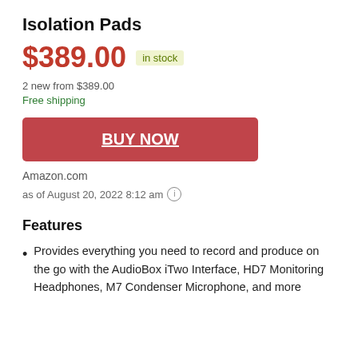Isolation Pads
$389.00  in stock
2 new from $389.00
Free shipping
BUY NOW
Amazon.com
as of August 20, 2022 8:12 am
Features
Provides everything you need to record and produce on the go with the AudioBox iTwo Interface, HD7 Monitoring Headphones, M7 Condenser Microphone, and more